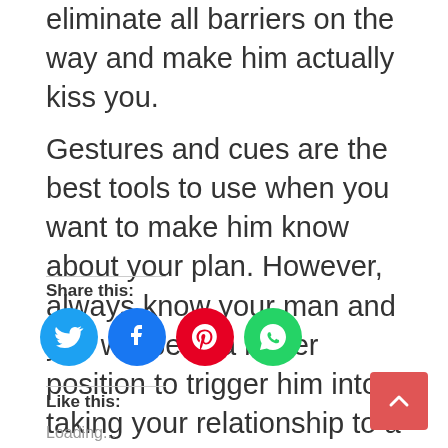eliminate all barriers on the way and make him actually kiss you.
Gestures and cues are the best tools to use when you want to make him know about your plan. However, always know your man and you will be in a better position to trigger him into taking your relationship to a whole new level.
Share this:
[Figure (other): Social share icons: Twitter (blue), Facebook (blue), Pinterest (red), WhatsApp (green)]
Like this:
Loading...